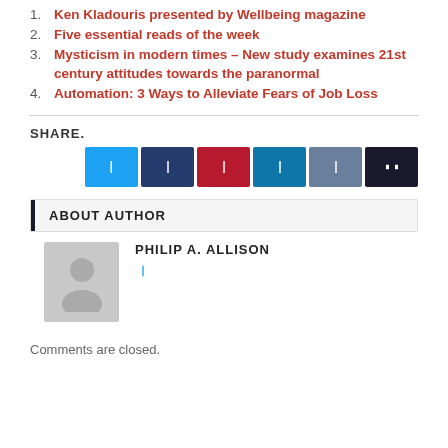1. Ken Kladouris presented by Wellbeing magazine
2. Five essential reads of the week
3. Mysticism in modern times – New study examines 21st century attitudes towards the paranormal
4. Automation: 3 Ways to Alleviate Fears of Job Loss
SHARE.
ABOUT AUTHOR
PHILIP A. ALLISON
Comments are closed.